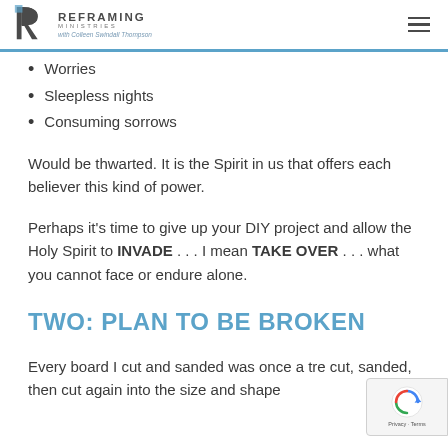REFRAMING MINISTRIES with Colleen Swindall Thompson
Worries
Sleepless nights
Consuming sorrows
Would be thwarted. It is the Spirit in us that offers each believer this kind of power.
Perhaps it's time to give up your DIY project and allow the Holy Spirit to INVADE . . . I mean TAKE OVER . . . what you cannot face or endure alone.
TWO: PLAN TO BE BROKEN
Every board I cut and sanded was once a tre cut, sanded, then cut again into the size and shape